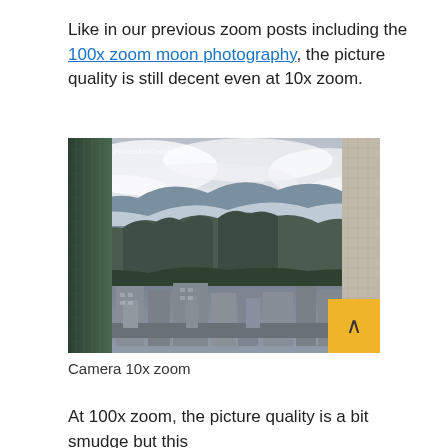Like in our previous zoom posts including the 100x zoom moon photography, the picture quality is still decent even at 10x zoom.
[Figure (photo): City skyline photograph taken at 10x zoom showing urban buildings in foreground, mountain range with rocky cliffs in the middle distance, and cloudy sky. Two tall buildings flank the sides of the image. A small watermark is visible in the top-left corner.]
Camera 10x zoom
At 100x zoom, the picture quality is a bit smudge but this